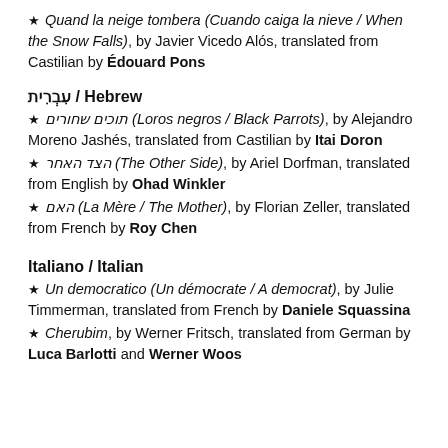★ Quand la neige tombera (Cuando caiga la nieve / When the Snow Falls), by Javier Vicedo Alós, translated from Castilian by Édouard Pons
עִבְרִית / Hebrew
★ תוכים שחורים (Loros negros / Black Parrots), by Alejandro Moreno Jashés, translated from Castilian by Itai Doron
★ הצד האחר (The Other Side), by Ariel Dorfman, translated from English by Ohad Winkler
★ האם (La Mère / The Mother), by Florian Zeller, translated from French by Roy Chen
Italiano / Italian
★ Un democratico (Un démocrate / A democrat), by Julie Timmerman, translated from French by Daniele Squassina
★ Cherubim, by Werner Fritsch, translated from German by Luca Barlotti and Werner Woos